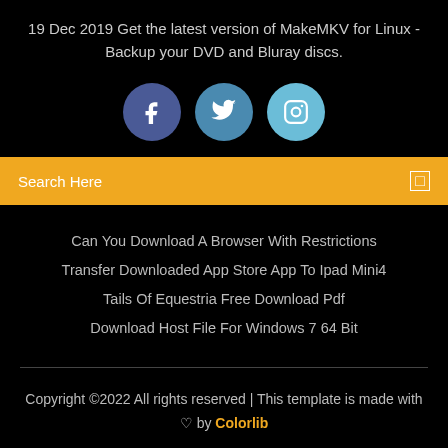19 Dec 2019 Get the latest version of MakeMKV for Linux - Backup your DVD and Bluray discs.
[Figure (illustration): Three circular social media icons: Facebook (dark blue), Twitter (medium blue), Instagram (light blue)]
Search Here
Can You Download A Browser With Restrictions
Transfer Downloaded App Store App To Ipad Mini4
Tails Of Equestria Free Download Pdf
Download Host File For Windows 7 64 Bit
Copyright ©2022 All rights reserved | This template is made with ♡ by Colorlib